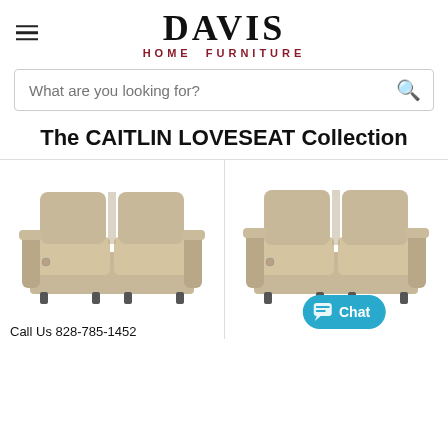DAVIS HOME FURNITURE
What are you looking for?
The CAITLIN LOVESEAT Collection
[Figure (photo): Beige/tan upholstered reclining loveseat with two seats, high back cushions, and recliner buttons on the armrests]
[Figure (photo): Beige/tan upholstered reclining loveseat (second variant), similar style with two seats and high back cushions]
Call Us 828-785-1452
Call Us 828-785-1452
Chat